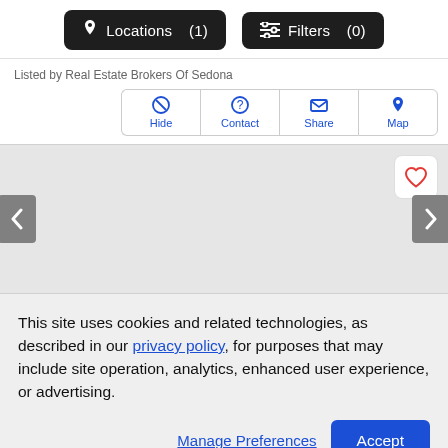[Figure (screenshot): Two dark pill-shaped navigation buttons: 'Locations (1)' with map pin icon and 'Filters (0)' with sliders icon]
Listed by Real Estate Brokers Of Sedona
[Figure (screenshot): Four action buttons: Hide, Contact, Share, Map — with icons, in blue text on white with border]
[Figure (screenshot): Gray carousel area with heart/favorite button (red heart outline) top-right, left and right gray navigation arrow buttons on sides]
This site uses cookies and related technologies, as described in our privacy policy, for purposes that may include site operation, analytics, enhanced user experience, or advertising.
Manage Preferences
Accept